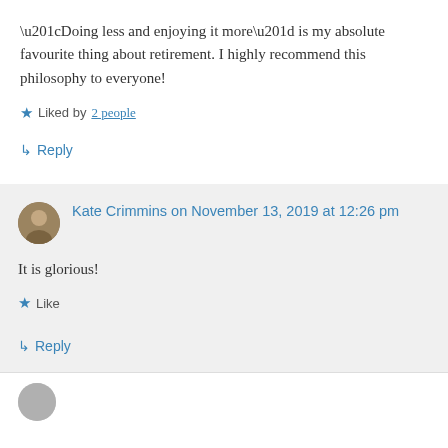“Doing less and enjoying it more” is my absolute favourite thing about retirement. I highly recommend this philosophy to everyone!
★ Liked by 2 people
↳ Reply
Kate Crimmins on November 13, 2019 at 12:26 pm
It is glorious!
★ Like
↳ Reply